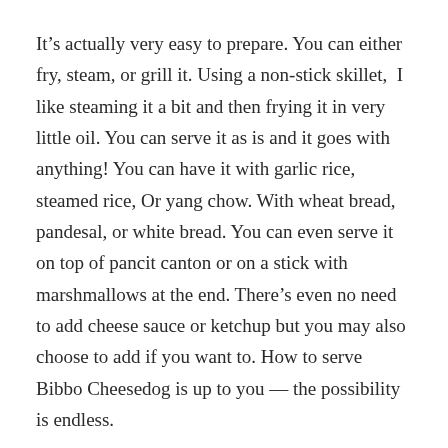It's actually very easy to prepare. You can either fry, steam, or grill it. Using a non-stick skillet,  I like steaming it a bit and then frying it in very little oil. You can serve it as is and it goes with anything! You can have it with garlic rice, steamed rice, Or yang chow. With wheat bread, pandesal, or white bread. You can even serve it on top of pancit canton or on a stick with marshmallows at the end. There's even no need to add cheese sauce or ketchup but you may also choose to add if you want to. How to serve Bibbo Cheesedog is up to you — the possibility is endless.
Bibbo Cheesedog is truly tested by moms and loved by kids.